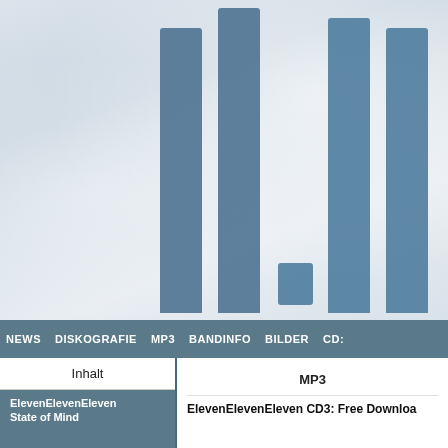[Figure (logo): RE:\LE (ElevenEleven) band logo with tall blue vertical bars and text 'R E : \ L E' and 'E L E V E N E L E V' below]
NEWS  DISKOGRAFIE  MP3  BANDINFO  BILDER  CD
Inhalt
MP3
ElevenElevenEleven
State of Mind
ElevenElevenEleven CD3: Free Downloa...